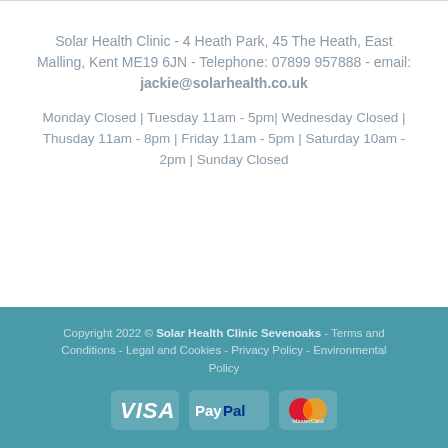Solar Health Clinic - 4 Heath Park, 45 The Heath, East Malling, Kent ME19 6JN - Telephone: 07899 957888 - email: jackie@solarhealth.co.uk
Monday Closed | Tuesday 11am - 5pm| Wednesday Closed | Thusday 11am - 8pm | Friday 11am - 5pm | Saturday 10am - 2pm | Sunday Closed
Copyright 2022 © Solar Health Clinic Sevenoaks - Terms and Conditions - Legal and Cookies - Privacy Policy - Environmental Policy
[Figure (logo): Payment icons: VISA, PayPal, Mastercard on teal background]